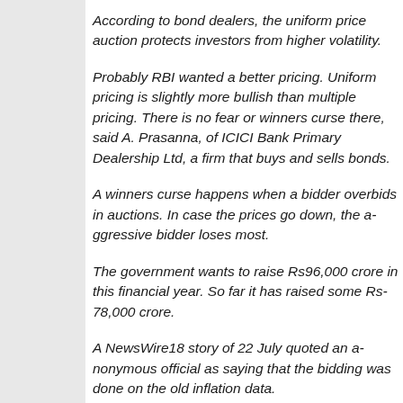According to bond dealers, the uniform price auction protects investors from higher volatility.
Probably RBI wanted a better pricing. Uniform pricing is slightly more bullish than multiple pricing. There is no fear or winners curse there, said A. Prasanna, of ICICI Bank Primary Dealership Ltd, a firm that buys and sells bonds.
A winners curse happens when a bidder overbids in auctions. In case the prices go down, the aggressive bidder loses most.
The government wants to raise Rs96,000 crore in this financial year. So far it has raised some Rs78,000 crore.
A NewsWire18 story of 22 July quoted an anonymous official as saying that the bidding was done on the old inflation data.